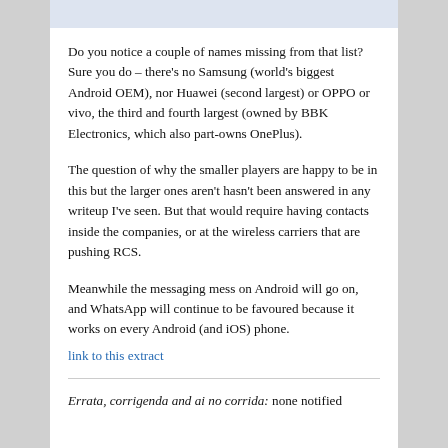Do you notice a couple of names missing from that list? Sure you do – there's no Samsung (world's biggest Android OEM), nor Huawei (second largest) or OPPO or vivo, the third and fourth largest (owned by BBK Electronics, which also part-owns OnePlus).
The question of why the smaller players are happy to be in this but the larger ones aren't hasn't been answered in any writeup I've seen. But that would require having contacts inside the companies, or at the wireless carriers that are pushing RCS.
Meanwhile the messaging mess on Android will go on, and WhatsApp will continue to be favoured because it works on every Android (and iOS) phone.
link to this extract
Errata, corrigenda and ai no corrida: none notified